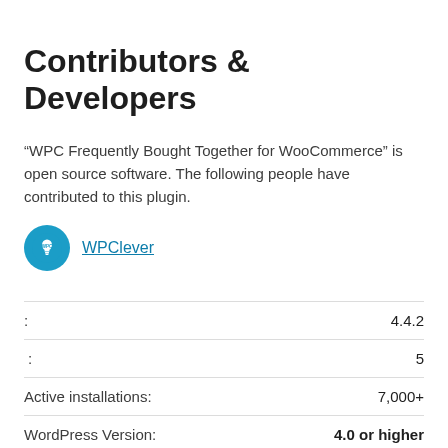Contributors & Developers
“WPC Frequently Bought Together for WooCommerce” is open source software. The following people have contributed to this plugin.
WPClever
| Label | Value |
| --- | --- |
| : | 4.4.2 |
| : | 5 |
| Active installations: | 7,000+ |
| WordPress Version: | 4.0 or higher |
| Tested up to: | 6.0.1 |
| Language: | English (US) |